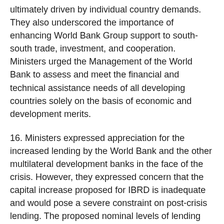ultimately driven by individual country demands. They also underscored the importance of enhancing World Bank Group support to south-south trade, investment, and cooperation. Ministers urged the Management of the World Bank to assess and meet the financial and technical assistance needs of all developing countries solely on the basis of economic and development merits.
16. Ministers expressed appreciation for the increased lending by the World Bank and the other multilateral development banks in the face of the crisis. However, they expressed concern that the capital increase proposed for IBRD is inadequate and would pose a severe constraint on post-crisis lending. The proposed nominal levels of lending are simply too small in terms of the overall development financing needs of countries beyond the crisis and the Bank's potential role in financing global public goods. Toward that end, Ministers called for a much larger capital increase for